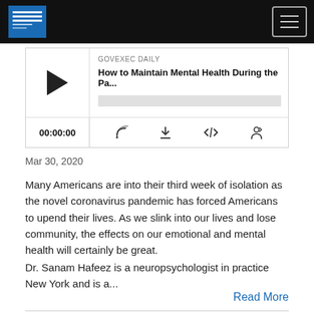GOVEXEC DAILY
[Figure (screenshot): Podcast player widget showing episode 'How to Maintain Mental Health During the Pa...' from GOVEXEC DAILY, with play button, progress bar, timestamp 00:00:00, and media control icons]
Mar 30, 2020
Many Americans are into their third week of isolation as the novel coronavirus pandemic has forced Americans to upend their lives. As we slink into our lives and lose community, the effects on our emotional and mental health will certainly be great.
Dr. Sanam Hafeez is a neuropsychologist in practice New York and is a...
Read More